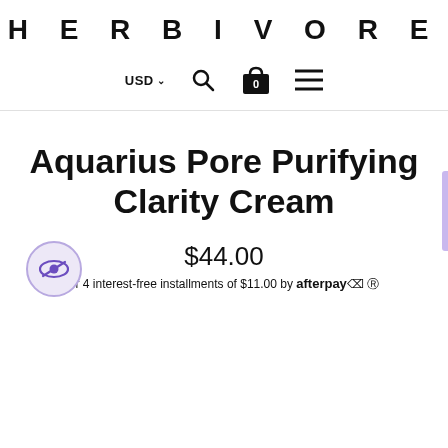HERBIVORE
USD ▾  🔍  🛍0  ☰
Aquarius Pore Purifying Clarity Cream
$44.00
or 4 interest-free installments of $11.00 by afterpay◈